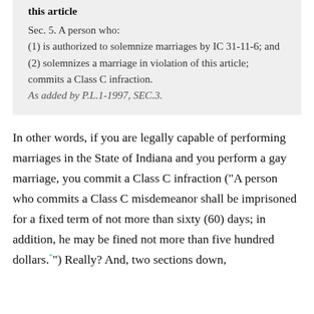this article
Sec. 5. A person who:
(1) is authorized to solemnize marriages by IC 31-11-6; and
(2) solemnizes a marriage in violation of this article;
commits a Class C infraction.
As added by P.L.1-1997, SEC.3.
In other words, if you are legally capable of performing marriages in the State of Indiana and you perform a gay marriage, you commit a Class C infraction (“A person who commits a Class C misdemeanor shall be imprisoned for a fixed term of not more than sixty (60) days; in addition, he may be fined not more than five hundred dollars.*”)  Really? And, two sections down,